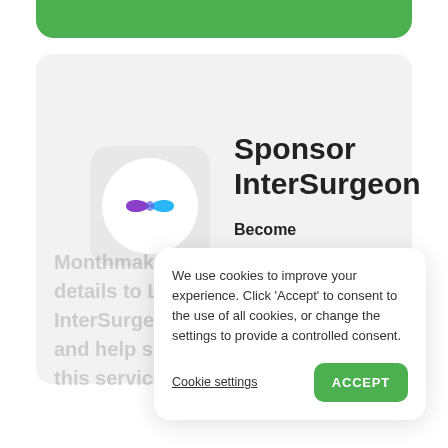[Figure (screenshot): Green rounded bar at top of screen]
[Figure (logo): InterSurgeon app icon with purple-blue infinity-style logo on white circle, on light grey rounded square]
Sponsor InterSurgeon
Become InterSurgeon's next
Monthmaker. Add details to Lady InterSurgeon page and help support this service.
We use cookies to improve your experience. Click 'Accept' to consent to the use of all cookies, or change the settings to provide a controlled consent.
Cookie settings
ACCEPT